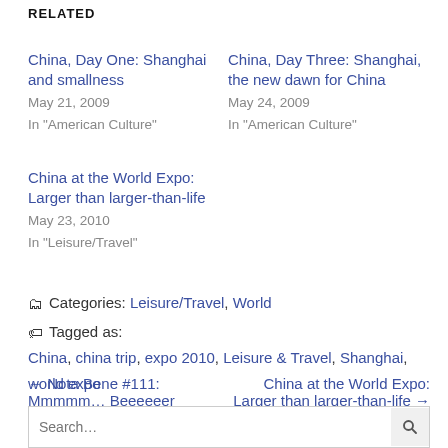RELATED
China, Day One: Shanghai and smallness
May 21, 2009
In "American Culture"
China, Day Three: Shanghai, the new dawn for China
May 24, 2009
In "American Culture"
China at the World Expo: Larger than larger-than-life
May 23, 2010
In "Leisure/Travel"
Categories: Leisure/Travel, World
Tagged as: China, china trip, expo 2010, Leisure & Travel, Shanghai, world expo
← Nota Bene #111: Mmmmm… Beeeeeer
China at the World Expo: Larger than larger-than-life →